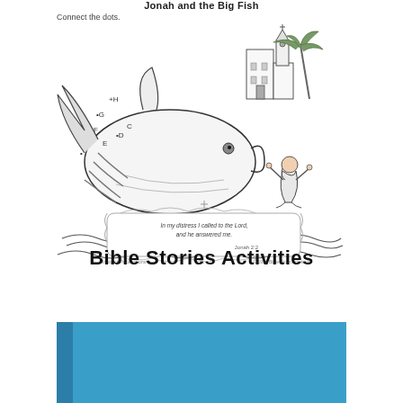[Figure (illustration): A connect-the-dots activity page titled 'Jonah and the Big Fish' showing a large whale/fish with Jonah standing beside it, a city in the background, and a Bible verse in a decorative frame. Letters A-H are shown as dot markers. Page number 21 at bottom.]
Bible Stories Activities
[Figure (other): A blue rectangular banner/book cover element at the bottom of the page with a darker left stripe.]